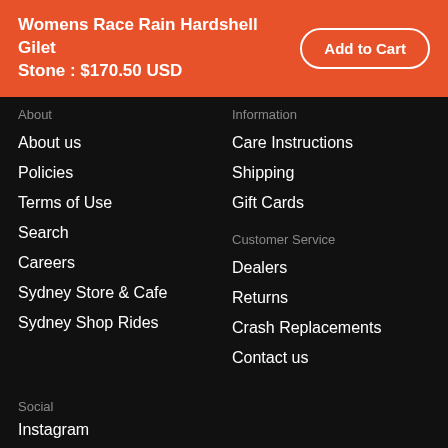Womens Race Rain Hardshell Gilet Stone : $170.50 USD | Add to Cart
About
About us
Policies
Terms of Use
Search
Careers
Sydney Store & Cafe
Sydney Shop Rides
Information
Care Instructions
Shipping
Gift Cards
Customer Service
Dealers
Returns
Crash Replacements
Contact us
Social
Instagram
Facebook